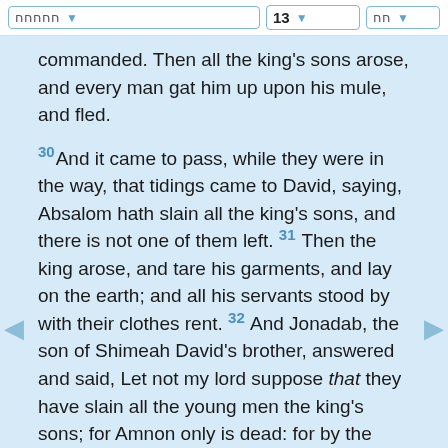חחחחח  13  חח
commanded. Then all the king's sons arose, and every man gat him up upon his mule, and fled.
30 And it came to pass, while they were in the way, that tidings came to David, saying, Absalom hath slain all the king's sons, and there is not one of them left. 31 Then the king arose, and tare his garments, and lay on the earth; and all his servants stood by with their clothes rent. 32 And Jonadab, the son of Shimeah David's brother, answered and said, Let not my lord suppose that they have slain all the young men the king's sons; for Amnon only is dead: for by the appointment of Absalom this hath been determined from the day that he forced his sister Tamar. 33 Now therefore let not my lord the king take the thing to his heart, to think that all the king's sons are dead: for Amnon only is dead.